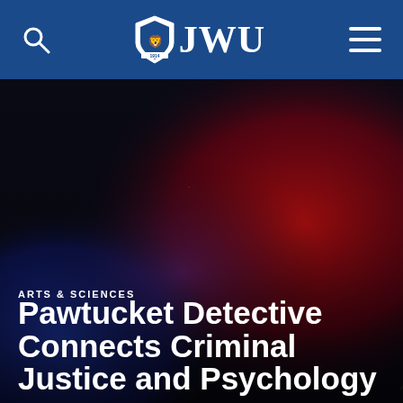JWU navigation bar with search icon, JWU logo, and menu icon
[Figure (photo): Dark background photo with blurred red and blue police lights]
ARTS & SCIENCES
Pawtucket Detective Connects Criminal Justice and Psychology